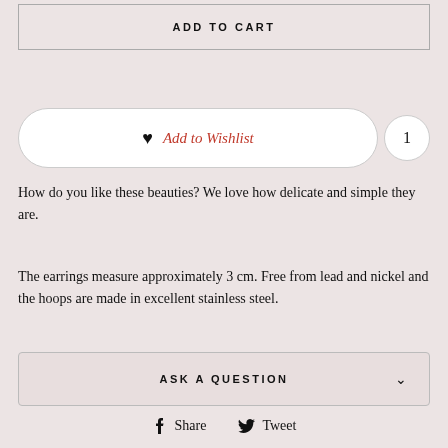ADD TO CART
♥ Add to Wishlist  1
How do you like these beauties? We love how delicate and simple they are.
The earrings measure approximately 3 cm. Free from lead and nickel and the hoops are made in excellent stainless steel.
ASK A QUESTION
Share  Tweet